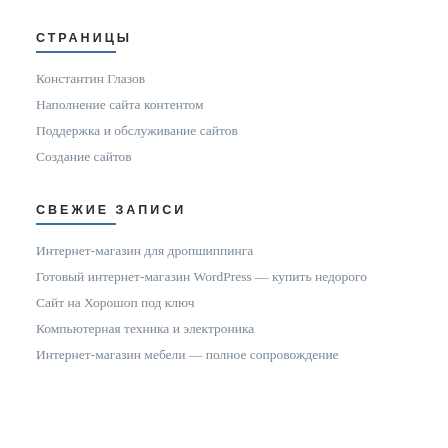СТРАНИЦЫ
Константин Глазов
Наполнение сайта контентом
Поддержка и обслуживание сайтов
Создание сайтов
СВЕЖИЕ ЗАПИСИ
Интернет-магазин для дропшиппинга
Готовый интернет-магазин WordPress — купить недорого
Сайт на Хорошоп под ключ
Компьютерная техника и электроника
Интернет-магазин мебели — полное сопровождение